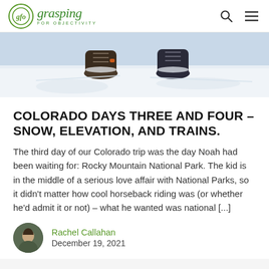gfo grasping FOR OBJECTIVITY
[Figure (photo): Close-up photo of two pairs of boots/shoes standing in snow, viewed from above, snowy landscape background]
COLORADO DAYS THREE AND FOUR – SNOW, ELEVATION, AND TRAINS.
The third day of our Colorado trip was the day Noah had been waiting for: Rocky Mountain National Park. The kid is in the middle of a serious love affair with National Parks, so it didn't matter how cool horseback riding was (or whether he'd admit it or not) – what he wanted was national [...]
Rachel Callahan
December 19, 2021